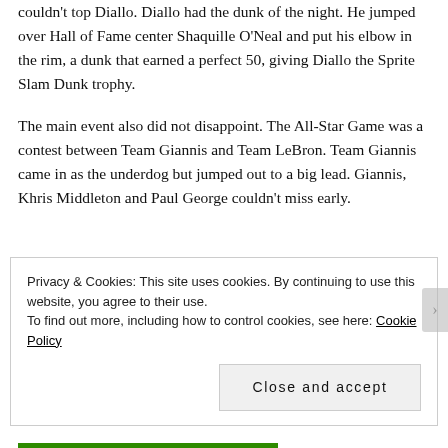couldn't top Diallo. Diallo had the dunk of the night. He jumped over Hall of Fame center Shaquille O'Neal and put his elbow in the rim, a dunk that earned a perfect 50, giving Diallo the Sprite Slam Dunk trophy.
The main event also did not disappoint. The All-Star Game was a contest between Team Giannis and Team LeBron. Team Giannis came in as the underdog but jumped out to a big lead. Giannis, Khris Middleton and Paul George couldn't miss early.
Privacy & Cookies: This site uses cookies. By continuing to use this website, you agree to their use.
To find out more, including how to control cookies, see here: Cookie Policy
Close and accept